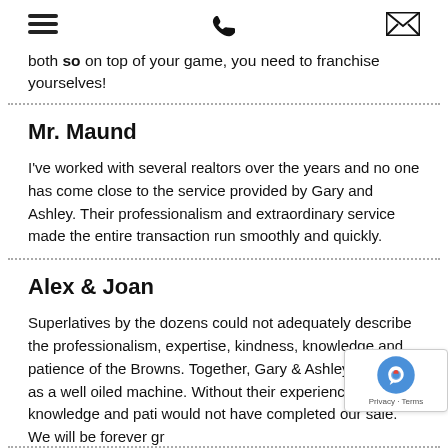[hamburger menu icon] [phone icon] [envelope icon]
both so on top of your game, you need to franchise yourselves!
Mr. Maund
I've worked with several realtors over the years and no one has come close to the service provided by Gary and Ashley. Their professionalism and extraordinary service made the entire transaction run smoothly and quickly.
Alex & Joan
Superlatives by the dozens could not adequately describe the professionalism, expertise, kindness, knowledge and patience of the Browns. Together, Gary & Ashley function as a well oiled machine. Without their experience, knowledge and pati... would not have completed our sale. We will be forever gr...